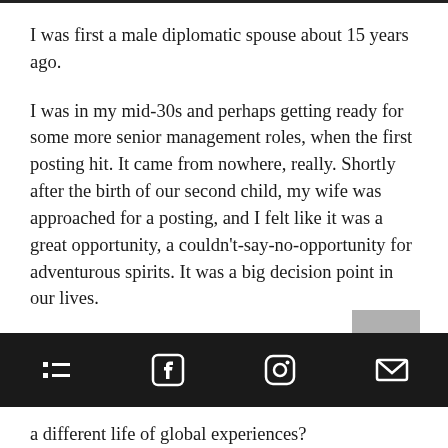I was first a male diplomatic spouse about 15 years ago.
I was in my mid-30s and perhaps getting ready for some more senior management roles, when the first posting hit. It came from nowhere, really. Shortly after the birth of our second child, my wife was approached for a posting, and I felt like it was a great opportunity, a couldn't-say-no-opportunity for adventurous spirits. It was a big decision point in our lives.
I really felt like I was at a crossroads: do
a different life of global experiences?
[navigation bar with list, facebook, instagram, email icons]